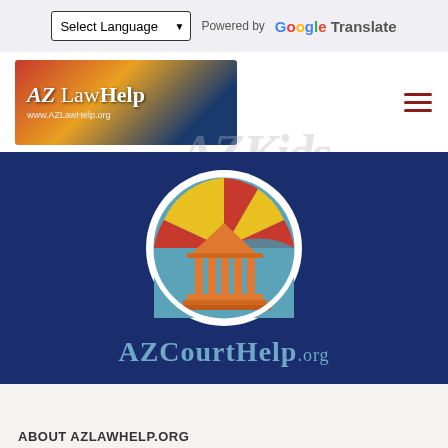[Figure (screenshot): Language selector dropdown 'Select Language' with Google Translate powered by branding]
[Figure (logo): AZ LawHelp banner logo with Arizona flag colors showing www.AZLawHelp.org]
[Figure (logo): AZCourtHelp.org logo on dark navy blue background with Arizona courthouse emblem circular seal]
ABOUT AZLAWHELP.ORG